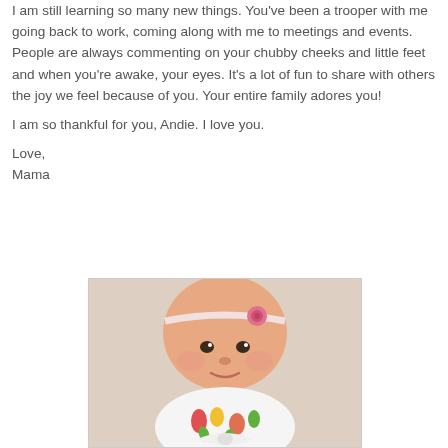I am still learning so many new things.  You've been a trooper with me going back to work, coming along with me to meetings and events.  People are always commenting on your chubby cheeks and little feet and when you're awake, your eyes.  It's a lot of fun to share with others the joy we feel because of you.  Your entire family adores you!

I am so thankful for you, Andie.  I love you.

Love,
Mama
[Figure (photo): A baby girl with a pink rose headband, wearing a colorful floral outfit with tulip and clover pattern, lying down and looking at the camera with a slight smile.]